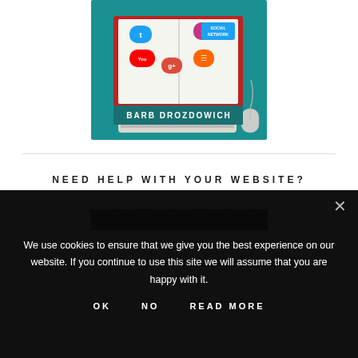[Figure (illustration): Book with social network icons (Twitter, Instagram, YouTube, Google+, RSS) open on a teal background with a computer keyboard and mouse, and the author name BARB DROZDOWICH at the bottom]
NEED HELP WITH YOUR WEBSITE?
[Figure (other): Dark decorative banner strip]
We use cookies to ensure that we give you the best experience on our website. If you continue to use this site we will assume that you are happy with it.
OK   NO   READ MORE